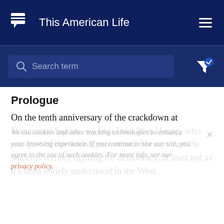This American Life
[Figure (screenshot): Search bar with magnifying glass icon and placeholder text 'Search term', followed by a filter icon with checkmark badge]
Prologue
On the tenth anniversary of the crackdown at Tiananmen Square, we hear from Wen Huang, who was part of the student movement. He says that the students weren't fighting for democracy, at least not as it's been widely understood in the West.
We use cookies and other tracking technologies to enhance your browsing experience. If you continue to use our site, you agree to the use of such cookies. For more info, see our privacy policy.